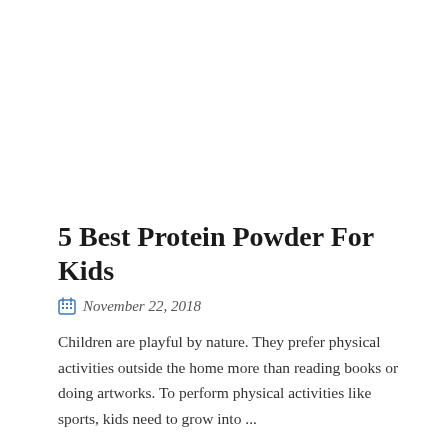5 Best Protein Powder For Kids
November 22, 2018
Children are playful by nature. They prefer physical activities outside the home more than reading books or doing artworks. To perform physical activities like sports, kids need to grow into ...
Read More